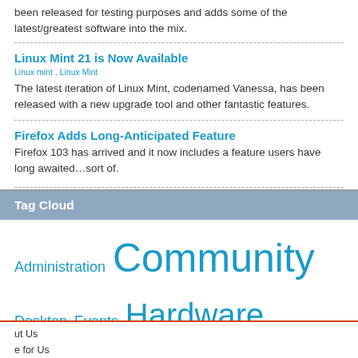been released for testing purposes and adds some of the latest/greatest software into the mix.
Linux Mint 21 is Now Available
Linux mint , Linux Mint
The latest iteration of Linux Mint, codenamed Vanessa, has been released with a new upgrade tool and other fantastic features.
Firefox Adds Long-Anticipated Feature
Firefox 103 has arrived and it now includes a feature users have long awaited…sort of.
Tag Cloud
Administration Community Desktop Events Hardware Linux Linux Pro Magazine Mobile Programming Software Ubuntu Web Development Windows free software open source
ut Us
e for Us